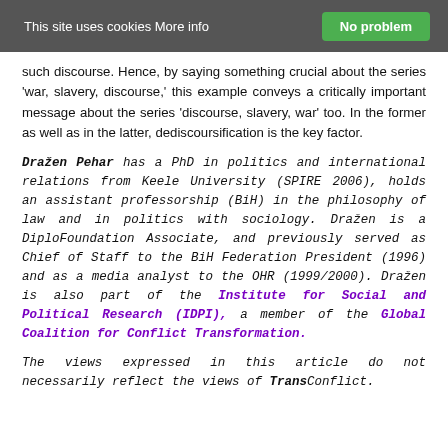This site uses cookies More info | No problem
such discourse. Hence, by saying something crucial about the series 'war, slavery, discourse,' this example conveys a critically important message about the series 'discourse, slavery, war' too. In the former as well as in the latter, dediscoursification is the key factor.
Dražen Pehar has a PhD in politics and international relations from Keele University (SPIRE 2006), holds an assistant professorship (BiH) in the philosophy of law and in politics with sociology. Dražen is a DiploFoundation Associate, and previously served as Chief of Staff to the BiH Federation President (1996) and as a media analyst to the OHR (1999/2000). Dražen is also part of the Institute for Social and Political Research (IDPI), a member of the Global Coalition for Conflict Transformation.
The views expressed in this article do not necessarily reflect the views of TransConflict.